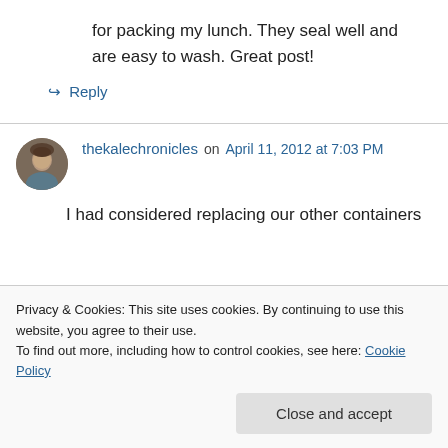for packing my lunch. They seal well and are easy to wash. Great post!
↪ Reply
thekalechronicles on April 11, 2012 at 7:03 PM
I had considered replacing our other containers
Privacy & Cookies: This site uses cookies. By continuing to use this website, you agree to their use.
To find out more, including how to control cookies, see here: Cookie Policy
Close and accept